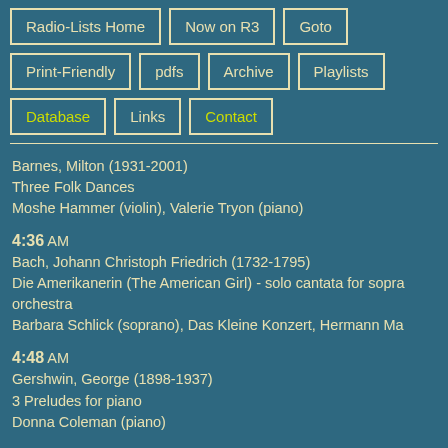Radio-Lists Home
Now on R3
Goto
Print-Friendly
pdfs
Archive
Playlists
Database
Links
Contact
Barnes, Milton (1931-2001)
Three Folk Dances
Moshe Hammer (violin), Valerie Tryon (piano)
4:36 AM
Bach, Johann Christoph Friedrich (1732-1795)
Die Amerikanerin (The American Girl) - solo cantata for soprano and orchestra
Barbara Schlick (soprano), Das Kleine Konzert, Hermann Ma
4:48 AM
Gershwin, George (1898-1937)
3 Preludes for piano
Donna Coleman (piano)
4:56 AM